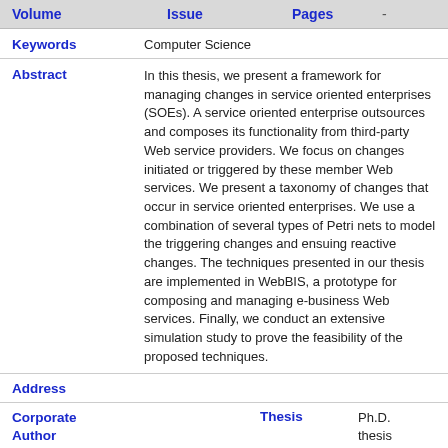| Volume | Issue | Pages | - |
| --- | --- | --- | --- |
|   |   |   |   |
| Keywords | Abstract | Address | Corporate Author | Thesis | Publisher | Place of Publication | Editor | Language | Summary | Original |
| --- | --- | --- | --- | --- | --- | --- | --- | --- | --- | --- |
| Computer Science |
| In this thesis, we present a framework for managing changes in service oriented enterprises (SOEs). A service oriented enterprise outsources and composes its functionality from third-party Web service providers. We focus on changes initiated or triggered by these member Web services. We present a taxonomy of changes that occur in service oriented enterprises. We use a combination of several types of Petri nets to model the triggering changes and ensuing reactive changes. The techniques presented in our thesis are implemented in WebBIS, a prototype for composing and managing e-business Web services. Finally, we conduct an extensive simulation study to prove the feasibility of the proposed techniques. |
|  |
|  |  | Ph.D. thesis |
|  |  |  |